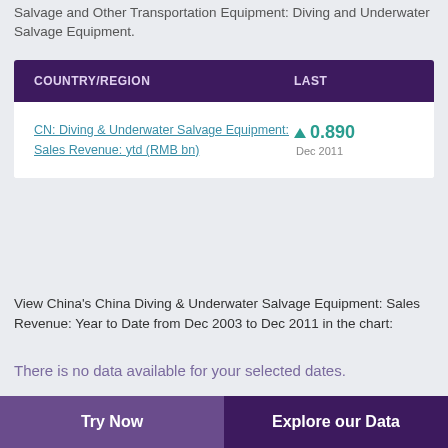Salvage and Other Transportation Equipment: Diving and Underwater Salvage Equipment.
| COUNTRY/REGION | LAST |
| --- | --- |
| CN: Diving & Underwater Salvage Equipment: Sales Revenue: ytd (RMB bn) | ▲ 0.890 Dec 2011 |
View China's China Diving & Underwater Salvage Equipment: Sales Revenue: Year to Date from Dec 2003 to Dec 2011 in the chart:
There is no data available for your selected dates.
Try Now    Explore our Data